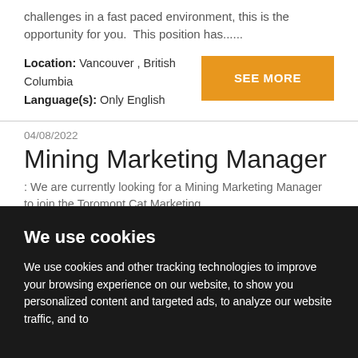challenges in a fast paced environment, this is the opportunity for you.  This position has......
Location: Vancouver , British Columbia
Language(s): Only English
SEE MORE
04/08/2022
Mining Marketing Manager
: We are currently looking for a Mining Marketing Manager to join the Toromont Cat Marketing
We use cookies
We use cookies and other tracking technologies to improve your browsing experience on our website, to show you personalized content and targeted ads, to analyze our website traffic, and to